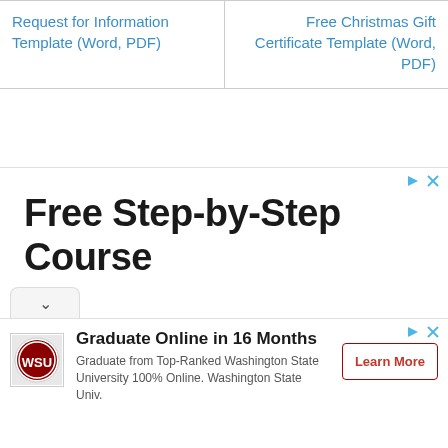Request for Information Template (Word, PDF)
Free Christmas Gift Certificate Template (Word, PDF)
[Figure (screenshot): Advertisement banner with text 'Free Step-by-Step Course' with ad controls (play and close icons) and a chevron/collapse button at the bottom left]
[Figure (screenshot): Advertisement banner for Washington State University: 'Graduate Online in 16 Months. Graduate from Top-Ranked Washington State University 100% Online. Washington State Univ.' with WSU logo and 'Learn More' button]